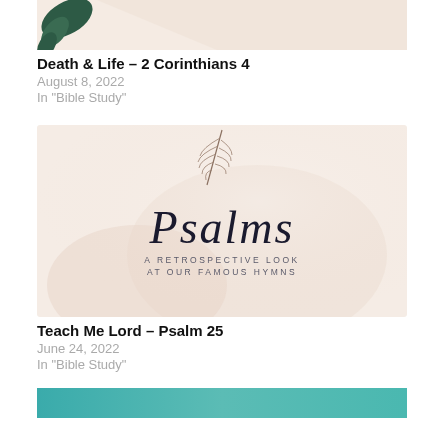[Figure (photo): Partial top image of a blog post card for 'Death & Life – 2 Corinthians 4', showing a light peach/pink background with dark green leaf element in upper left corner]
Death & Life – 2 Corinthians 4
August 8, 2022
In "Bible Study"
[Figure (photo): Blog post thumbnail image for 'Psalms – A Retrospective Look at Our Famous Hymns'. Light peach/cream background with a feather at top and cursive script reading 'Psalms' with subtitle 'A RETROSPECTIVE LOOK AT OUR FAMOUS HYMNS']
Teach Me Lord – Psalm 25
June 24, 2022
In "Bible Study"
[Figure (photo): Partial bottom image of another blog post card, showing a teal/blue colored banner at the very bottom of the page]